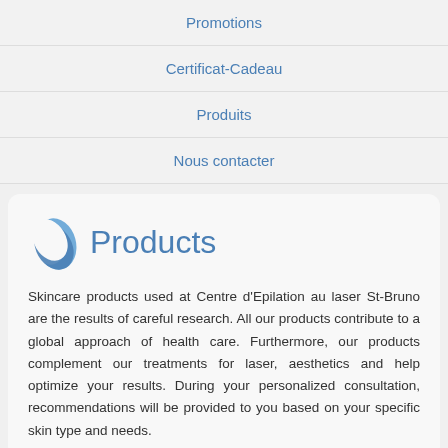Promotions
Certificat-Cadeau
Produits
Nous contacter
Products
Skincare products used at Centre d'Epilation au laser St-Bruno are the results of careful research. All our products contribute to a global approach of health care. Furthermore, our products complement our treatments for laser, aesthetics and help optimize your results. During your personalized consultation, recommendations will be provided to you based on your specific skin type and needs.